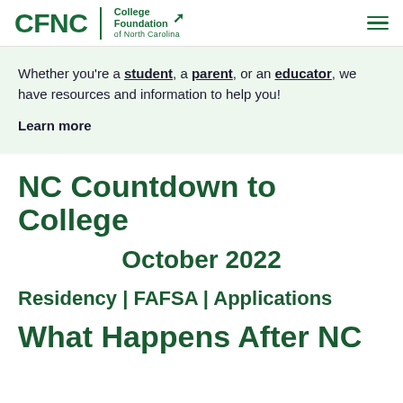[Figure (logo): CFNC College Foundation of North Carolina logo with hamburger menu icon]
Whether you're a student, a parent, or an educator, we have resources and information to help you!
Learn more
NC Countdown to College
October 2022
Residency | FAFSA | Applications
What Happens After NC